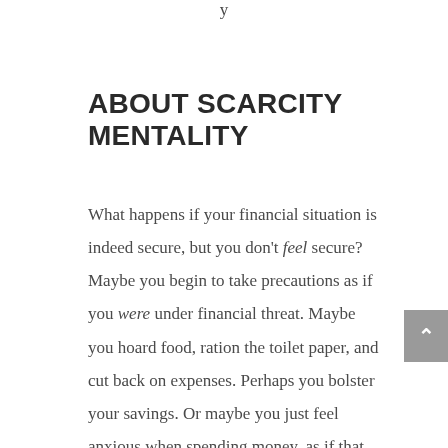ABOUT SCARCITY MENTALITY
What happens if your financial situation is indeed secure, but you don't feel secure? Maybe you begin to take precautions as if you were under financial threat. Maybe you hoard food, ration the toilet paper, and cut back on expenses. Perhaps you bolster your savings. Or maybe you just feel anxious when spending money, as if that fear will prevent you